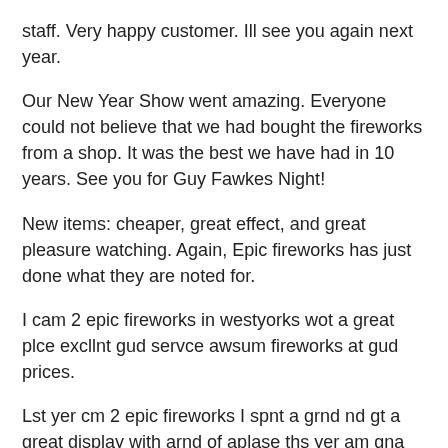staff. Very happy customer. Ill see you again next year.
Our New Year Show went amazing. Everyone could not believe that we had bought the fireworks from a shop. It was the best we have had in 10 years. See you for Guy Fawkes Night!
New items: cheaper, great effect, and great pleasure watching. Again, Epic fireworks has just done what they are noted for.
I cam 2 epic fireworks in westyorks wot a great plce excllnt gud servce awsum fireworks at gud prices.
Lst yer cm 2 epic fireworks I spnt a grnd nd gt a great display with arnd of aplase ths yer am gna spnd arnd 1500 nd sprse my lcal cmmnity cntre bst firework shp in th uk I fnd.
Jimmy's fireworks have been great to me over the years they have always managed to produce the goods when I have